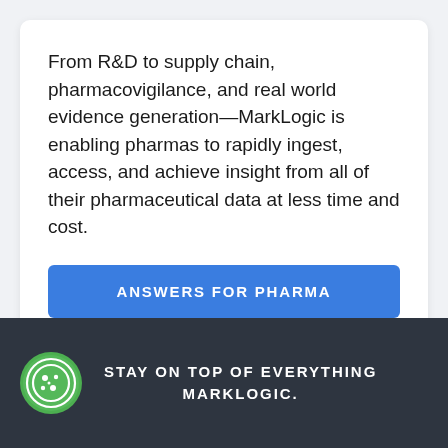From R&D to supply chain, pharmacovigilance, and real world evidence generation—MarkLogic is enabling pharmas to rapidly ingest, access, and achieve insight from all of their pharmaceutical data at less time and cost.
ANSWERS FOR PHARMA
[Figure (logo): Green circular cookie/settings icon with cookie-like dots]
STAY ON TOP OF EVERYTHING MARKLOGIC.